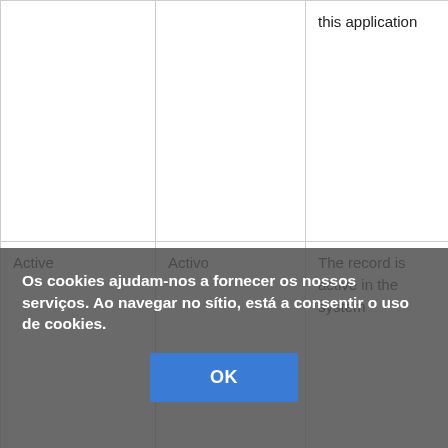|  |  | this application | identi
langu
for dis |
| Active | Activo | The record is active in the system | There
metho
makin
unava
the sy
is to c
record
is to c
the re
activa
is not
for se
avail
repor
... |
Os cookies ajudam-nos a fornecer os nossos serviços. Ao navegar no sítio, está a consentir o uso de cookies.